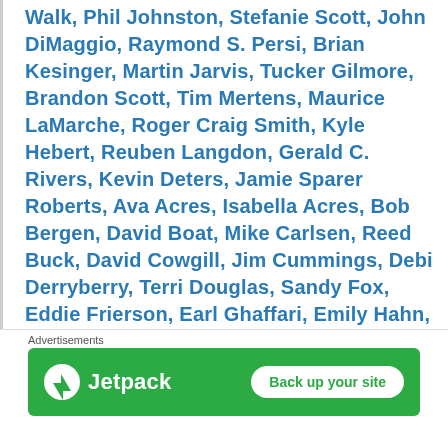Walk, Phil Johnston, Stefanie Scott, John DiMaggio, Raymond S. Persi, Brian Kesinger, Martin Jarvis, Tucker Gilmore, Brandon Scott, Tim Mertens, Maurice LaMarche, Roger Craig Smith, Kyle Hebert, Reuben Langdon, Gerald C. Rivers, Kevin Deters, Jamie Sparer Roberts, Ava Acres, Isabella Acres, Bob Bergen, David Boat, Mike Carlsen, Reed Buck, David Cowgill, Jim Cummings, Debi Derryberry, Terri Douglas, Sandy Fox, Eddie Frierson, Earl Ghaffari, Emily Hahn, Jennifer Hale, Daniel Kaz, Dave Kohut, Lauren MacMullan, Mona Marshall, Scott Menville, Laraine Newman, Paul Pape, Lynwood Robinson, Trenton Rogers, Jadon
Advertisements
[Figure (other): Jetpack advertisement banner with green background showing Jetpack logo and 'Back up your site' button]